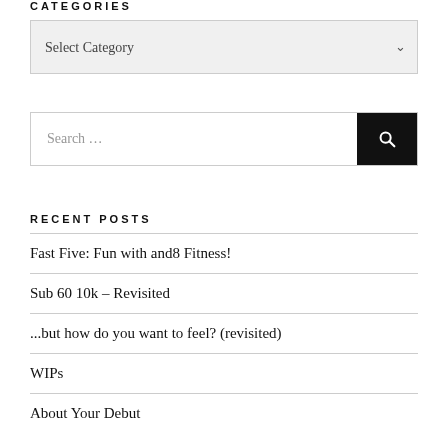CATEGORIES
[Figure (screenshot): Dropdown select box with 'Select Category' placeholder and a chevron arrow]
[Figure (screenshot): Search bar with placeholder text 'Search ...' and a dark search button with magnifying glass icon]
RECENT POSTS
Fast Five: Fun with and8 Fitness!
Sub 60 10k – Revisited
...but how do you want to feel? (revisited)
WIPs
About Your Debut